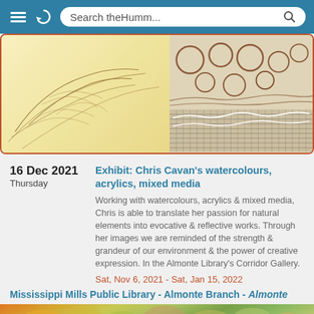Search theHumm...
[Figure (photo): Two art pieces side by side: left shows yellow parchment with delicate line drawings of leaves/waves; right shows cream fabric with circular embroidered shapes and textured patterns]
16 Dec 2021
Thursday
Exhibit: Chris Cavan's watercolours, acrylics, mixed media
Working with watercolours, acrylics & mixed media, Chris is able to translate her passion for natural elements into evocative & reflective works. Through her images we are reminded of the strength & grandeur of our environment & the power of creative expression. In the Almonte Library's Corridor Gallery.
Sat, Nov 6, 2021 - Sat, Jan 15, 2022
Mississippi Mills Public Library - Almonte Branch - Almonte
[Figure (photo): Bottom portion of a watercolour painting showing autumn trees with orange, yellow and green foliage against a soft background]